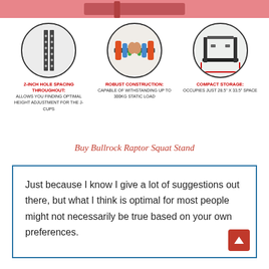[Figure (photo): Top pink/red banner with product image partially visible]
[Figure (infographic): Three circular product feature icons in a row: hole spacing detail, weights/robust construction, compact storage footprint]
2-INCH HOLE SPACING THROUGHOUT: ALLOWS YOU FINDING OPTIMAL HEIGHT ADJUSTMENT FOR THE J-CUPS
ROBUST CONSTRUCTION: CAPABLE OF WITHSTANDING UP TO 300KG STATIC LOAD
COMPACT STORAGE: OCCUPIES JUST 28.5" X 33.5" SPACE
Buy Bullrock Raptor Squat Stand
Just because I know I give a lot of suggestions out there, but what I think is optimal for most people might not necessarily be true based on your own preferences.